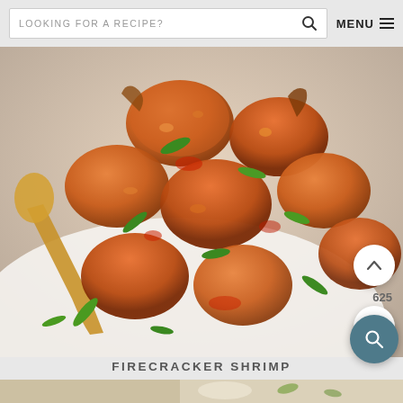LOOKING FOR A RECIPE?  MENU
[Figure (photo): Close-up overhead photo of firecracker shrimp coated in crispy orange-red breading, garnished with sliced green onions, served on a white plate with a gold spoon]
FIRECRACKER SHRIMP
[Figure (photo): Partial view of a second recipe image showing what appears to be pasta or nachos with cream sauce and herbs]